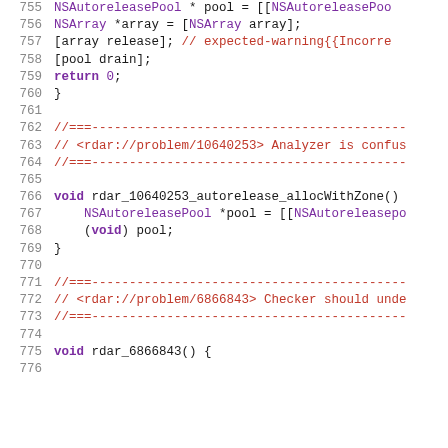[Figure (screenshot): Source code listing in a code editor showing Objective-C code, lines 755-775, with syntax highlighting. Purple for keywords and class names, red for comments, blue for variables.]